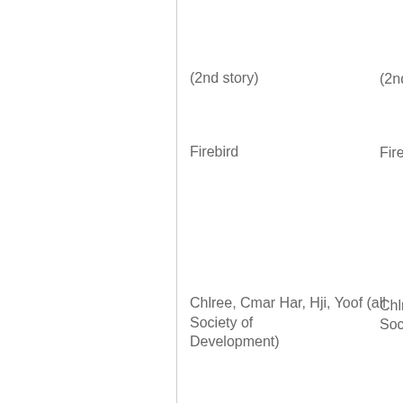(2nd story)
Firebird
Chlree, Cmar Har, Hji, Yoof (all Society of Development)
In Flashback
Bonita Juarez
Father Mendiguez
In Projected Images
Firebird, Hank Dym, Hawkeye, Thing (cl...